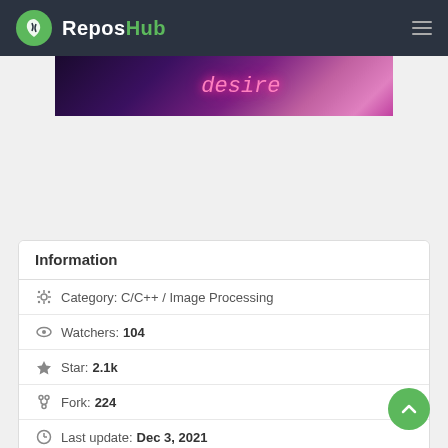ReposHub
[Figure (photo): Purple/pink neon-lit banner image with stylized text 'desire']
Information
Category: C/C++ / Image Processing
Watchers: 104
Star: 2.1k
Fork: 224
Last update: Dec 3, 2021